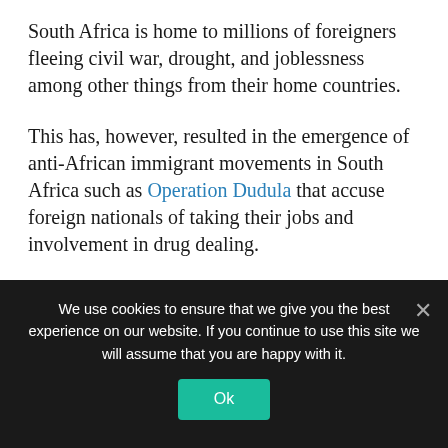South Africa is home to millions of foreigners fleeing civil war, drought, and joblessness among other things from their home countries.
This has, however, resulted in the emergence of anti-African immigrant movements in South Africa such as Operation Dudula that accuse foreign nationals of taking their jobs and involvement in drug dealing.
More: NewsDay
[Figure (other): Social media share icons: Facebook (blue), Twitter (light blue), WhatsApp (green)]
We use cookies to ensure that we give you the best experience on our website. If you continue to use this site we will assume that you are happy with it. Ok